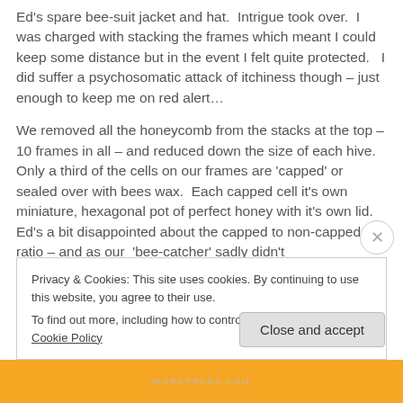Ed's spare bee-suit jacket and hat.  Intrigue took over.  I was charged with stacking the frames which meant I could keep some distance but in the event I felt quite protected.   I did suffer a psychosomatic attack of itchiness though – just enough to keep me on red alert…
We removed all the honeycomb from the stacks at the top – 10 frames in all – and reduced down the size of each hive. Only a third of the cells on our frames are 'capped' or sealed over with bees wax.  Each capped cell it's own miniature, hexagonal pot of perfect honey with it's own lid.   Ed's a bit disappointed about the capped to non-capped ratio – and as our  'bee-catcher' sadly didn't
Privacy & Cookies: This site uses cookies. By continuing to use this website, you agree to their use.
To find out more, including how to control cookies, see here: Cookie Policy
Close and accept